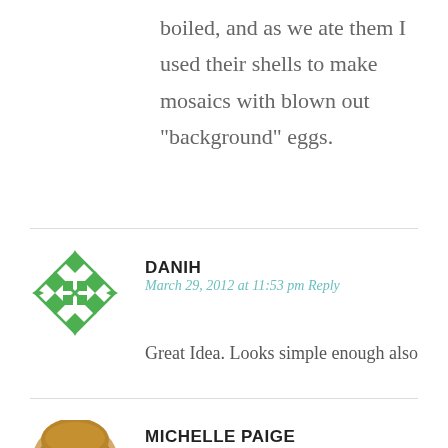boiled, and as we ate them I used their shells to make mosaics with blown out “background” eggs.
[Figure (illustration): Green geometric mosaic pattern avatar for user DANIH]
DANIH
March 29, 2012 at 11:53 pm Reply
Great Idea. Looks simple enough also
[Figure (photo): Circular profile photo of a blonde woman (Michelle Paige) smiling]
MICHELLE PAIGE
March 29, 2012 at 11:10 am Reply